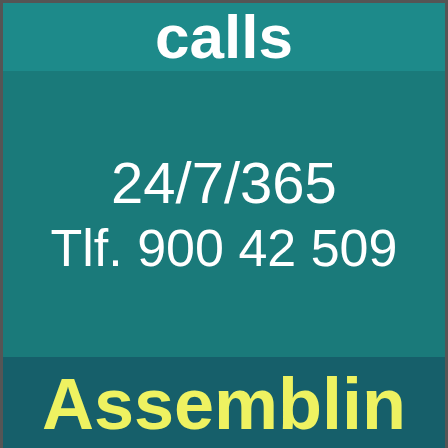calls
24/7/365
Tlf. 900 42 509
Assemblin